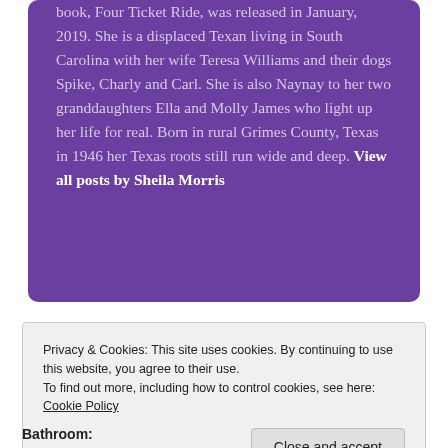book, Four Ticket Ride, was released in January, 2019. She is a displaced Texan living in South Carolina with her wife Teresa Williams and their dogs Spike, Charly and Carl. She is also Naynay to her two granddaughters Ella and Molly James who light up her life for real. Born in rural Grimes County, Texas in 1946 her Texas roots still run wide and deep. View all posts by Sheila Morris
Privacy & Cookies: This site uses cookies. By continuing to use this website, you agree to their use.
To find out more, including how to control cookies, see here: Cookie Policy
Bathroom: